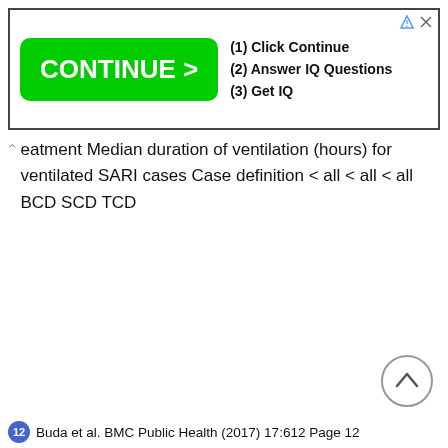[Figure (screenshot): Advertisement banner with green 'CONTINUE >' button and text: (1) Click Continue, (2) Answer IQ Questions, (3) Get IQ]
eatment Median duration of ventilation (hours) for ventilated SARI cases Case definition < all < all < all BCD SCD TCD
[Figure (other): Scroll-to-top circular button with upward chevron arrow]
12 Buda et al. BMC Public Health (2017) 17:612 Page 12